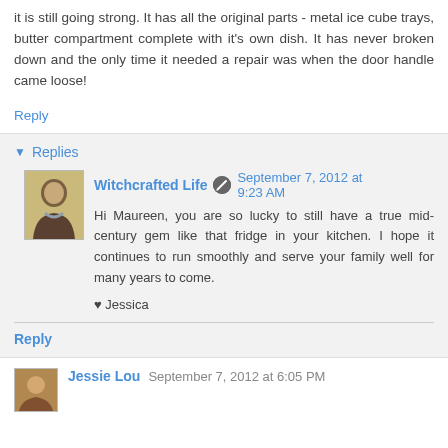it is still going strong. It has all the original parts - metal ice cube trays, butter compartment complete with it's own dish. It has never broken down and the only time it needed a repair was when the door handle came loose!
Reply
Replies
Witchcrafted Life  September 7, 2012 at 9:23 AM
Hi Maureen, you are so lucky to still have a true mid-century gem like that fridge in your kitchen. I hope it continues to run smoothly and serve your family well for many years to come.
♥ Jessica
Reply
Jessie Lou  September 7, 2012 at 6:05 PM